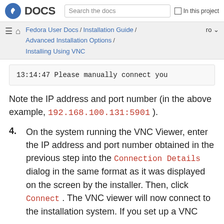Fedora DOCS | Search the docs | In this project
Fedora User Docs / Installation Guide / Advanced Installation Options / Installing Using VNC | ro
13:14:47 Please manually connect you
Note the IP address and port number (in the above example, 192.168.100.131:5901 ).
4. On the system running the VNC Viewer, enter the IP address and port number obtained in the previous step into the Connection Details dialog in the same format as it was displayed on the screen by the installer. Then, click Connect . The VNC viewer will now connect to the installation system. If you set up a VNC